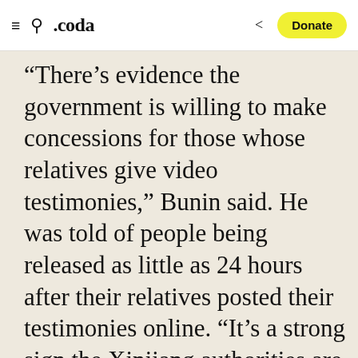≡  🔍  .coda  ⋮  Donate
“There’s evidence the government is willing to make concessions for those whose relatives give video testimonies,” Bunin said. He was told of people being released as little as 24 hours after their relatives posted their testimonies online. “It’s a strong sign the Xinjiang authorities are reacting to these videos,”